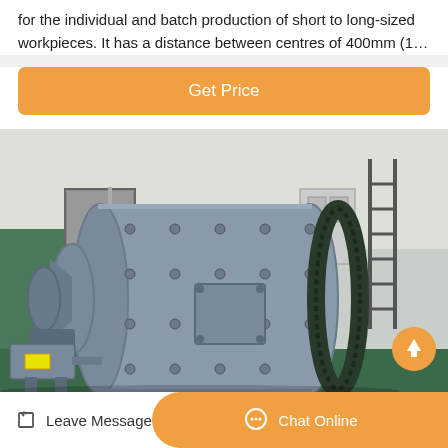for the individual and batch production of short to long-sized workpieces. It has a distance between centres of 400mm (1…
[Figure (other): Orange 'Get Price' button]
[Figure (photo): Industrial ball mill machine, large cylindrical grey metal drum with bolted flanges and a large gear ring on the right end, sitting in a workshop/factory setting with a ladder visible in background]
Leave Message
Chat Online